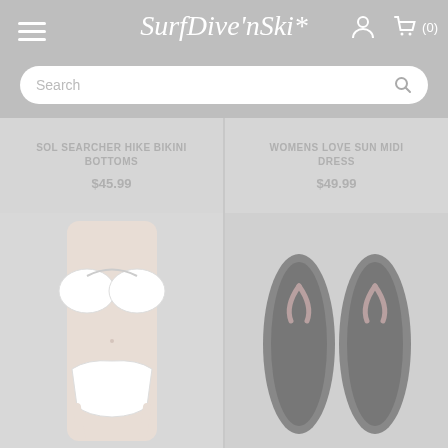Surf Dive 'n Ski* navigation header with hamburger menu, logo, user icon, and cart (0)
Search
SOL SEARCHER HIKE BIKINI BOTTOMS
$45.99
WOMENS LOVE SUN MIDI DRESS
$49.99
[Figure (photo): White bikini bottom worn by model, cropped torso view]
[Figure (photo): Dark grey/black flip flops shown from above, pair of two]